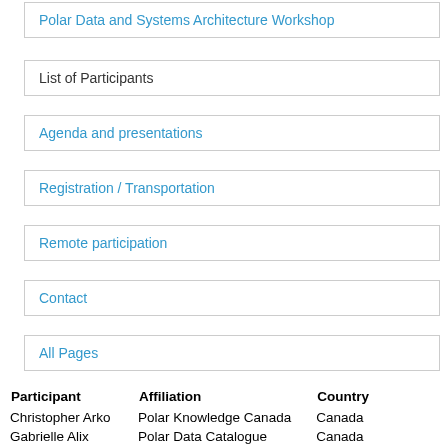Polar Data and Systems Architecture Workshop
List of Participants
Agenda and presentations
Registration / Transportation
Remote participation
Contact
All Pages
| Participant | Affiliation | Country |
| --- | --- | --- |
| Christopher Arko | Polar Knowledge Canada | Canada |
| Gabrielle Alix | Polar Data Catalogue | Canada |
| David Arthurs | Polar View | Denmark/Canada |
| James Badger | Arctic Institute of North | Canada |